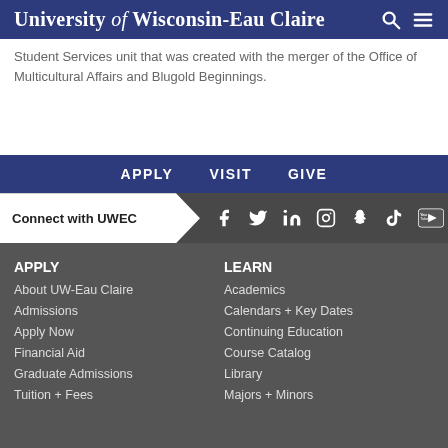University of Wisconsin-Eau Claire
Student Services unit that was created with the merger of the Office of Multicultural Affairs and Blugold Beginnings.
APPLY   VISIT   GIVE
Connect with UWEC
APPLY
About UW-Eau Claire
Admissions
Apply Now
Financial Aid
Graduate Admissions
Tuition + Fees
LEARN
Academics
Calendars + Key Dates
Continuing Education
Course Catalog
Library
Majors + Minors